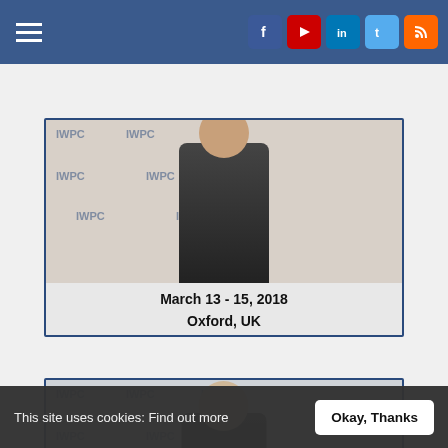Navigation bar with hamburger menu and social media icons (Facebook, YouTube, LinkedIn, Twitter, RSS)
[Figure (photo): Conference speaker photo at IWPC backdrop, man in dark jacket with lanyard. Caption: March 13 - 15, 2018, Oxford, UK]
March 13 - 15, 2018
Oxford, UK
[Figure (photo): Conference speaker photo at IWPC backdrop, man in striped shirt with lanyard. Caption: March 13 - 15, 2018, Oxford, UK]
March 13 - 15, 2018
Oxford, UK
[Figure (photo): Conference group photo showing four people standing at IWPC event]
This site uses cookies: Find out more
Okay, Thanks